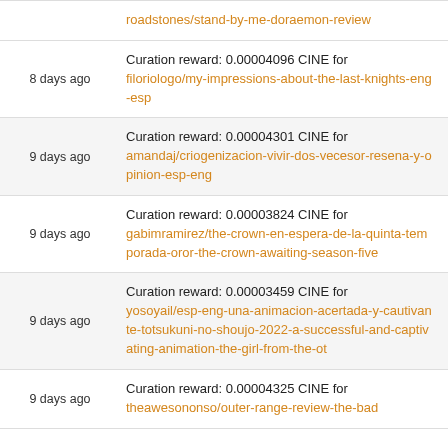| Date | Description |
| --- | --- |
|  | Curation reward: 0.00004096 CINE for filoriologo/my-impressions-about-the-last-knights-eng-esp |
| 8 days ago | Curation reward: 0.00004096 CINE for filoriologo/my-impressions-about-the-last-knights-eng-esp |
| 9 days ago | Curation reward: 0.00004301 CINE for amandaj/criogenizacion-vivir-dos-vecesor-resena-y-opinion-esp-eng |
| 9 days ago | Curation reward: 0.00003824 CINE for gabimramirez/the-crown-en-espera-de-la-quinta-temporada-oror-the-crown-awaiting-season-five |
| 9 days ago | Curation reward: 0.00003459 CINE for yosoyail/esp-eng-una-animacion-acertada-y-cautivante-totsukuni-no-shoujo-2022-a-successful-and-captivating-animation-the-girl-from-the-ot |
| 9 days ago | Curation reward: 0.00004325 CINE for theawesononso/outer-range-review-the-bad |